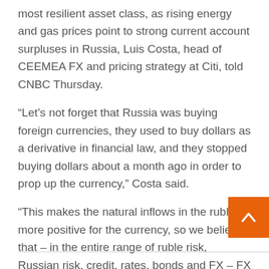most resilient asset class, as rising energy and gas prices point to strong current account surpluses in Russia, Luis Costa, head of CEEMEA FX and pricing strategy at Citi, told CNBC Thursday.
“Let’s not forget that Russia was buying foreign currencies, they used to buy dollars as a derivative in financial law, and they stopped buying dollars about a month ago in order to prop up the currency,” Costa said.
“This makes the natural inflows in the ruble more positive for the currency, so we believe that – in the entire range of ruble risk, Russian risk, credit, rates, bonds and FX – FX trading will continue to be the fluid piece of the puzzle here.”